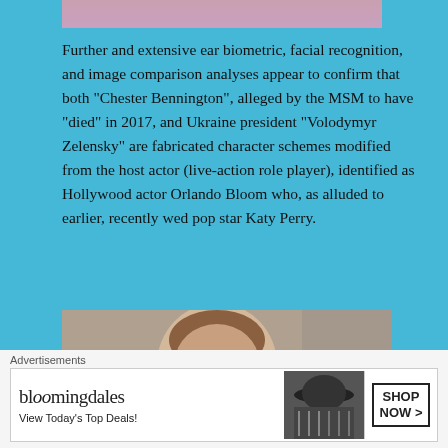[Figure (photo): Partial photo at top, cropped, showing a person]
Further and extensive ear biometric, facial recognition, and image comparison analyses appear to confirm that both “Chester Bennington”, alleged by the MSM to have “died” in 2017, and Ukraine president “Volodymyr Zelensky” are fabricated character schemes modified from the host actor (live-action role player), identified as Hollywood actor Orlando Bloom who, as alluded to earlier, recently wed pop star Katy Perry.
[Figure (photo): Photo of a man with short dark hair, likely Chester Bennington, in front of bookshelves]
Advertisements
[Figure (other): Bloomingdale's advertisement banner: bloomingdales, View Today's Top Deals!, SHOP NOW >]